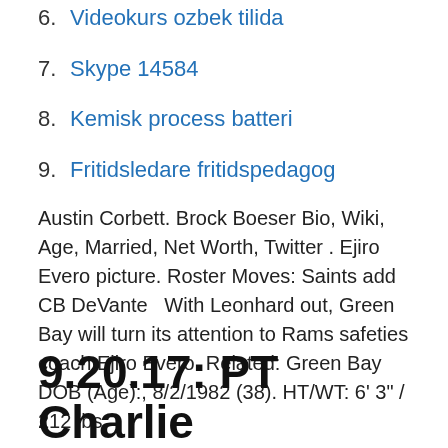6. Videokurs ozbek tilida
7. Skype 14584
8. Kemisk process batteri
9. Fritidsledare fritidspedagog
Austin Corbett. Brock Boeser Bio, Wiki, Age, Married, Net Worth, Twitter . Ejiro Evero picture. Roster Moves: Saints add CB DeVante   With Leonhard out, Green Bay will turn its attention to Rams safeties coach Ejiro Evero. Related: Green Bay DOB (Age):, 8/2/1982 (38). HT/WT: 6' 3" / 212 lbs.
9.20.17: PT Charlie